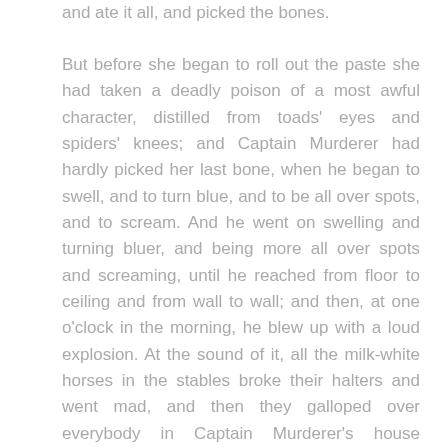and ate it all, and picked the bones.
But before she began to roll out the paste she had taken a deadly poison of a most awful character, distilled from toads' eyes and spiders' knees; and Captain Murderer had hardly picked her last bone, when he began to swell, and to turn blue, and to be all over spots, and to scream. And he went on swelling and turning bluer, and being more all over spots and screaming, until he reached from floor to ceiling and from wall to wall; and then, at one o'clock in the morning, he blew up with a loud explosion. At the sound of it, all the milk-white horses in the stables broke their halters and went mad, and then they galloped over everybody in Captain Murderer's house (beginning with the family blacksmith who had filed his teeth) until the whole were dead, and then they galloped away".